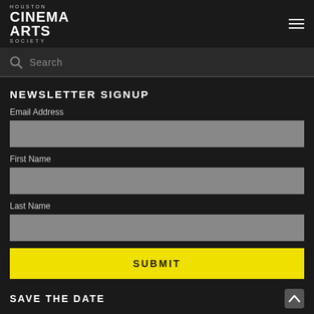HOUSTON CINEMA ARTS SOCIETY
Search
NEWSLETTER SIGNUP
Email Address
First Name
Last Name
SUBMIT
SAVE THE DATE
Houston Cinema Arts Festival